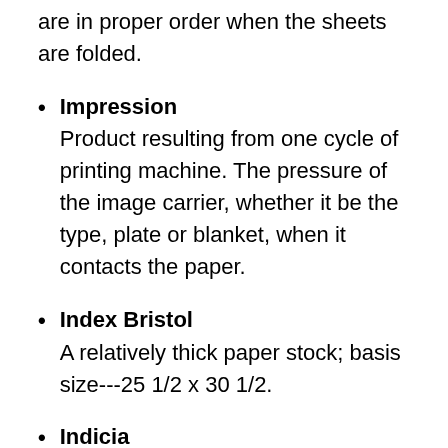are in proper order when the sheets are folded.
Impression: Product resulting from one cycle of printing machine. The pressure of the image carrier, whether it be the type, plate or blanket, when it contacts the paper.
Index Bristol: A relatively thick paper stock; basis size---25 1/2 x 30 1/2.
Indicia: Markings pre-printed on mailing envelopes to replace the stamp.